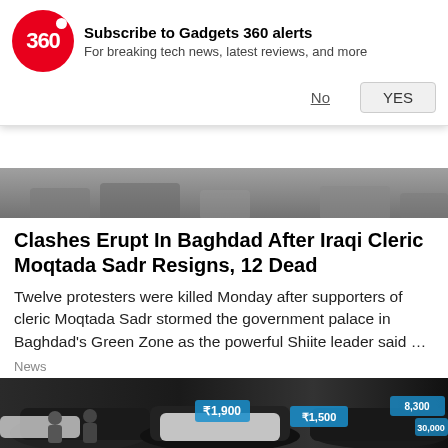[Figure (screenshot): Gadgets 360 notification banner with red circular logo showing '360', subscribe prompt text, and No/YES buttons]
[Figure (photo): Partial photo strip showing a crowd scene at the top]
Clashes Erupt In Baghdad After Iraqi Cleric Moqtada Sadr Resigns, 12 Dead
Twelve protesters were killed Monday after supporters of cleric Moqtada Sadr stormed the government palace in Baghdad's Green Zone as the powerful Shiite leader said …
News
[Figure (photo): Car dealership or auto show with multiple black and white SUVs/cars with price stickers, people visible in the background]